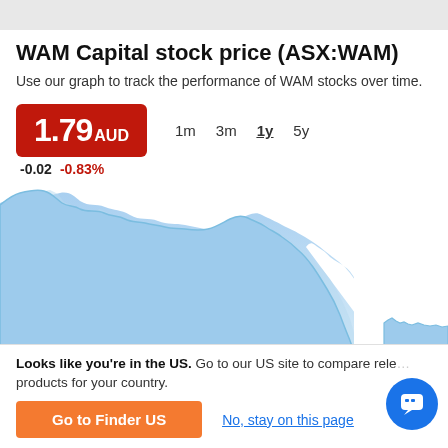WAM Capital stock price (ASX:WAM)
Use our graph to track the performance of WAM stocks over time.
1.79 AUD  -0.02  -0.83%
[Figure (area-chart): Area chart showing WAM Capital (ASX:WAM) stock price over 1 year. The price starts high around 2.0 AUD, declines sharply mid-chart, then drops further near the end with a gap, settling around 1.79 AUD.]
Looks like you're in the US. Go to our US site to compare relevant products for your country.